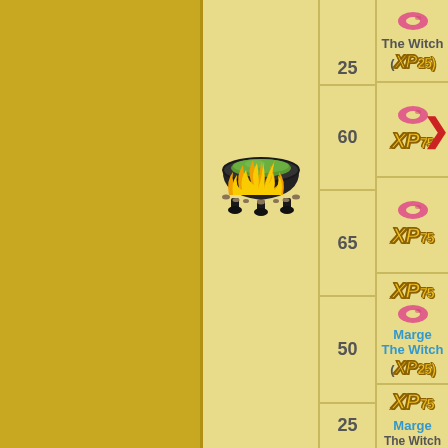[Figure (infographic): Game reward table showing cauldron image with rows for levels 25 (partial, top), 60, 65, 50, and a bottom partial row. Each row shows a level number, a pink donut/bean icon, and XP rewards (75 XP) with optional character unlock text 'Marge The Witch (XP 25)'.]
| Level | Cost | Reward |
| --- | --- | --- |
| 25 | pink donut | The Witch (XP 25) |
| 60 | pink donut | XP 75 |
| 65 | pink donut | XP 75 |
| 50 | pink donut | XP 75 / Marge The Witch (XP 25) |
| 25 | pink donut | XP 75 / Marge The Witch |